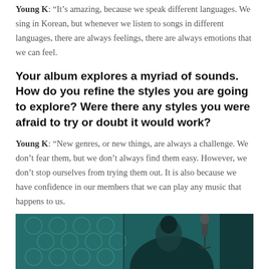Young K: “It’s amazing, because we speak different languages. We sing in Korean, but whenever we listen to songs in different languages, there are always feelings, there are always emotions that we can feel.
Your album explores a myriad of sounds. How do you refine the styles you are going to explore? Were there any styles you were afraid to try or doubt it would work?
Young K: “New genres, or new things, are always a challenge. We don’t fear them, but we don’t always find them easy. However, we don’t stop ourselves from trying them out. It is also because we have confidence in our members that we can play any music that happens to us.
[Figure (photo): A dark photo showing a person in a recording studio environment with a microphone, teal/teal-green toned background with decorative wallpaper on the left side.]